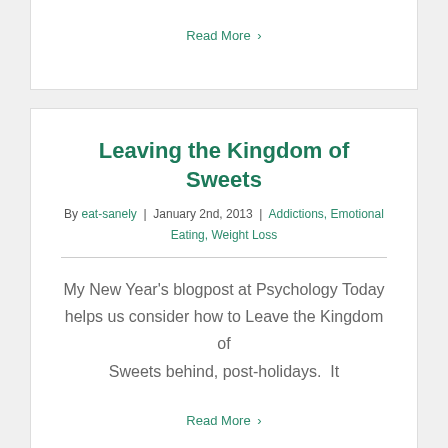Read More >
Leaving the Kingdom of Sweets
By eat-sanely | January 2nd, 2013 | Addictions, Emotional Eating, Weight Loss
My New Year's blogpost at Psychology Today helps us consider how to Leave the Kingdom of Sweets behind, post-holidays.  It
Read More >